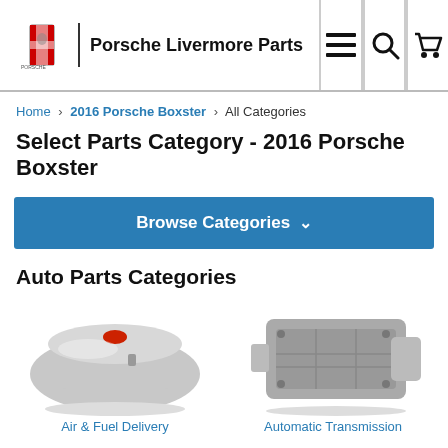Porsche Livermore Parts
Home > 2016 Porsche Boxster > All Categories
Select Parts Category - 2016 Porsche Boxster
Browse Categories
Auto Parts Categories
[Figure (photo): Photo of a fuel tank (Air & Fuel Delivery part)]
[Figure (photo): Photo of an automatic transmission assembly]
Air & Fuel Delivery
Automatic Transmission